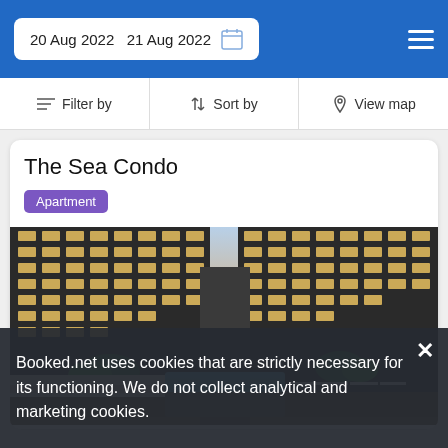20 Aug 2022  21 Aug 2022
Filter by  Sort by  View map
The Sea Condo
Apartment
[Figure (photo): Aerial/elevated view of The Sea Condo apartment complex at dusk, showing two high-rise buildings with illuminated balconies, a swimming pool with loungers and umbrellas between them, surrounded by tropical greenery.]
Booked.net uses cookies that are strictly necessary for its functioning. We do not collect analytical and marketing cookies.